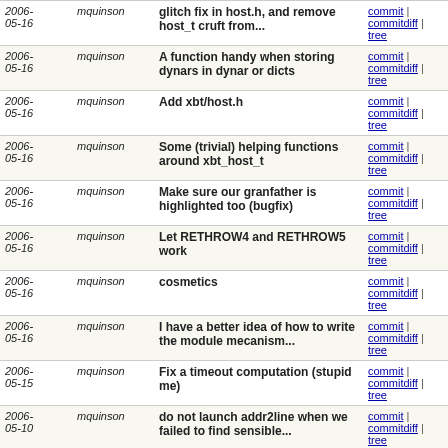| Date | Author | Message | Links |
| --- | --- | --- | --- |
| 2006-05-16 | mquinson | glitch fix in host.h, and remove host_t cruft from... | commit | commitdiff | tree |
| 2006-05-16 | mquinson | A function handy when storing dynars in dynar or dicts | commit | commitdiff | tree |
| 2006-05-16 | mquinson | Add xbt/host.h | commit | commitdiff | tree |
| 2006-05-16 | mquinson | Some (trivial) helping functions around xbt_host_t | commit | commitdiff | tree |
| 2006-05-16 | mquinson | Make sure our granfather is highlighted too (bugfix) | commit | commitdiff | tree |
| 2006-05-16 | mquinson | Let RETHROW4 and RETHROW5 work | commit | commitdiff | tree |
| 2006-05-16 | mquinson | cosmetics | commit | commitdiff | tree |
| 2006-05-16 | mquinson | I have a better idea of how to write the module mecanism... | commit | commitdiff | tree |
| 2006-05-15 | mquinson | Fix a timeout computation (stupid me) | commit | commitdiff | tree |
| 2006-05-10 | mquinson | do not launch addr2line when we failed to find sensible... | commit | commitdiff | tree |
| 2006-04-28 | mquinson | I may be on vacation, but I don't like leaving a borken... | commit | commitdiff | tree |
| 2006-04-26 | mquinson | Document the token ring example | commit | commitdiff | tree |
| 2006-04-25 | mquinson | regenerate with lastest flexml | commit | commitdiff | tree |